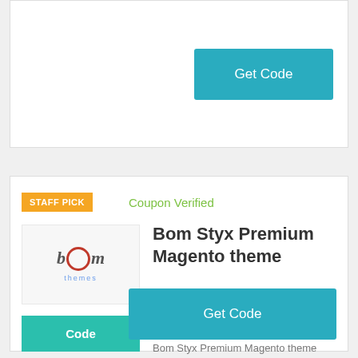Get Code
STAFF PICK
Coupon Verified
Bom Styx Premium Magento theme
[Figure (logo): bOm themes logo with stylized text and red circle O]
Code
Bom Styx Premium Magento theme coupon: ... Voucher Codes & deals showing listed above in order to find the Voucher for the BomThemes application you desire to ...
Get Code